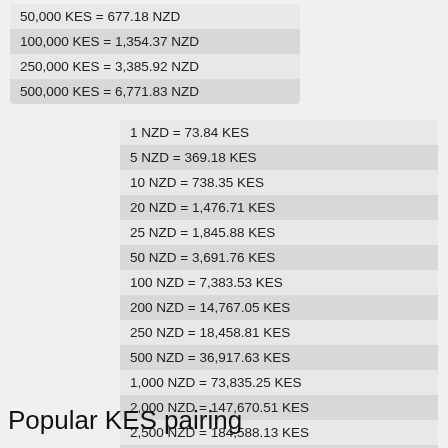| 50,000 KES = 677.18 NZD |
| 100,000 KES = 1,354.37 NZD |
| 250,000 KES = 3,385.92 NZD |
| 500,000 KES = 6,771.83 NZD |
| 1 NZD = 73.84 KES |
| 5 NZD = 369.18 KES |
| 10 NZD = 738.35 KES |
| 20 NZD = 1,476.71 KES |
| 25 NZD = 1,845.88 KES |
| 50 NZD = 3,691.76 KES |
| 100 NZD = 7,383.53 KES |
| 200 NZD = 14,767.05 KES |
| 250 NZD = 18,458.81 KES |
| 500 NZD = 36,917.63 KES |
| 1,000 NZD = 73,835.25 KES |
| 2,000 NZD = 147,670.51 KES |
| 2,500 NZD = 184,588.13 KES |
| 5,000 NZD = 369,176.27 KES |
| 10,000 NZD = 738,352.54 KES |
Popular KES pairing